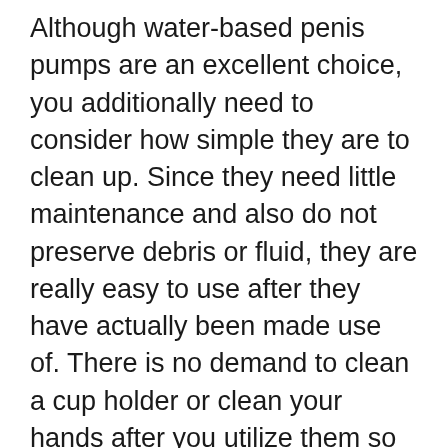Although water-based penis pumps are an excellent choice, you additionally need to consider how simple they are to clean up. Since they need little maintenance and also do not preserve debris or fluid, they are really easy to use after they have actually been made use of. There is no demand to clean a cup holder or clean your hands after you utilize them so you can invest less time cleansing your devices. This can make them a terrific choice for hectic guys that want to achieve fast outcomes without spending a lot of time.
Another benefit of penis pumps is that they are often much less expensive than lots of various other approaches. The Prick Pumps line of items is priced relatively low, making